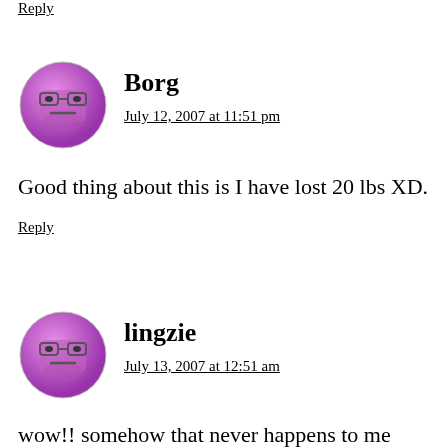Reply
Borg
July 12, 2007 at 11:51 pm
Good thing about this is I have lost 20 lbs XD.
Reply
lingzie
July 13, 2007 at 12:51 am
wow!! somehow that never happens to me